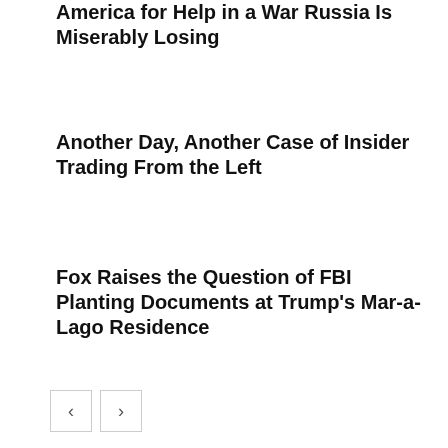America for Help in a War Russia Is Miserably Losing
Another Day, Another Case of Insider Trading From the Left
Fox Raises the Question of FBI Planting Documents at Trump's Mar-a-Lago Residence
[Figure (photo): Two navigation arrow buttons (previous and next) in bordered square boxes]
[Figure (photo): Split screen news screenshot: left side shows a white man with brown hair against a blue background with US Capitol imagery; right side shows a Black man in a suit against a wooden panel background]